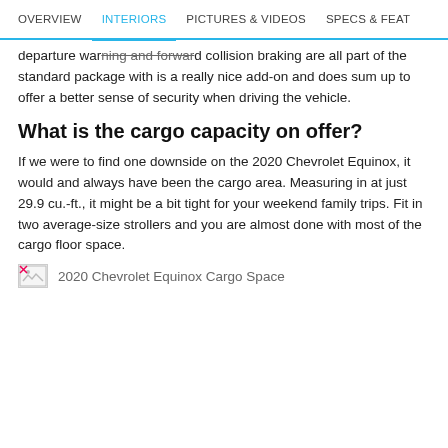OVERVIEW | INTERIORS | PICTURES & VIDEOS | SPECS & FEAT
departure warning and forward collision braking are all part of the standard package with is a really nice add-on and does sum up to offer a better sense of security when driving the vehicle.
What is the cargo capacity on offer?
If we were to find one downside on the 2020 Chevrolet Equinox, it would and always have been the cargo area. Measuring in at just 29.9 cu.-ft., it might be a bit tight for your weekend family trips. Fit in two average-size strollers and you are almost done with most of the cargo floor space.
[Figure (photo): Broken image placeholder with caption: 2020 Chevrolet Equinox Cargo Space]
2020 Chevrolet Equinox Cargo Space
To see great deals on near you
Enter your zip | Submit